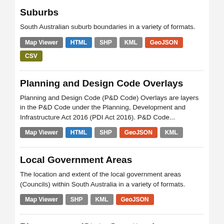Suburbs
South Australian suburb boundaries in a variety of formats.
Map Viewer | HTML | SHP | KML | GeoJSON | CSV
Planning and Design Code Overlays
Planning and Design Code (P&D Code) Overlays are layers in the P&D Code under the Planning, Development and Infrastructure Act 2016 (PDI Act 2016). P&D Code...
Map Viewer | HTML | SHP | GeoJSON | KML
Local Government Areas
The location and extent of the local government areas (Councils) within South Australia in a variety of formats.
Map Viewer | SHP | KML | GeoJSON
Place names (State Gazetteer)